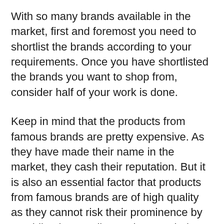With so many brands available in the market, first and foremost you need to shortlist the brands according to your requirements. Once you have shortlisted the brands you want to shop from, consider half of your work is done.
Keep in mind that the products from famous brands are pretty expensive. As they have made their name in the market, they cash their reputation. But it is also an essential factor that products from famous brands are of high quality as they cannot risk their prominence by providing low-quality products to their consumers. If you are a brand-conscious person, you have to spend an enormous amount to buy best best non stick spatula for eggs.